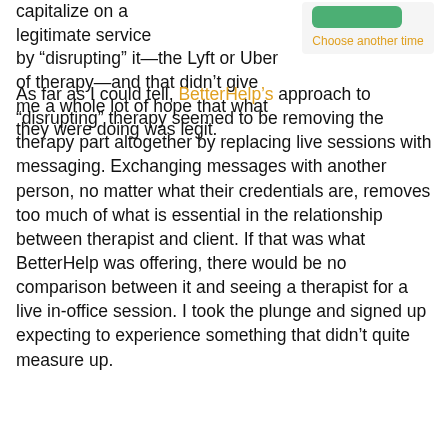capitalize on a legitimate service by “disrupting” it—the Lyft or Uber of therapy—and that didn’t give me a whole lot of hope that what they were doing was legit.
[Figure (screenshot): A small UI element showing a green button and a 'Choose another time' link in orange/gold color, part of a scheduling interface.]
As far as I could tell, BetterHelp’s approach to “disrupting” therapy seemed to be removing the therapy part altogether by replacing live sessions with messaging. Exchanging messages with another person, no matter what their credentials are, removes too much of what is essential in the relationship between therapist and client. If that was what BetterHelp was offering, there would be no comparison between it and seeing a therapist for a live in-office session. I took the plunge and signed up expecting to experience something that didn’t quite measure up.